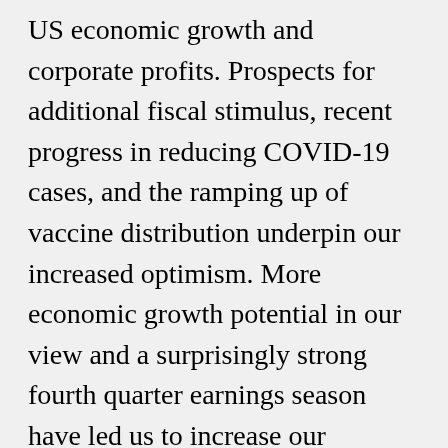US economic growth and corporate profits. Prospects for additional fiscal stimulus, recent progress in reducing COVID-19 cases, and the ramping up of vaccine distribution underpin our increased optimism. More economic growth potential in our view and a surprisingly strong fourth quarter earnings season have led us to increase our forecast for S&P 500 earnings per share in 2021 to $170 from $165. A strong earnings rebound may enable stocks to grow into somewhat elevated valuations. Our S&P 500 target is based on a price-to-earnings (PE) multiple of